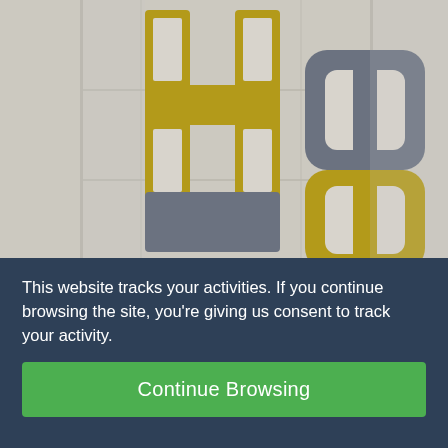[Figure (photo): Close-up photo of decorative glitter letters 'HO HO' stacked vertically, alternating gold and silver/grey colors against a white wooden plank background.]
This website tracks your activities. If you continue browsing the site, you're giving us consent to track your activity.
Continue Browsing